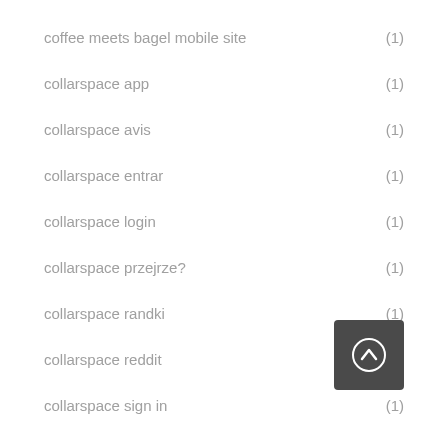coffee meets bagel mobile site (1)
collarspace app (1)
collarspace avis (1)
collarspace entrar (1)
collarspace login (1)
collarspace przejrze? (1)
collarspace randki (1)
collarspace reddit (1)
collarspace sign in (1)